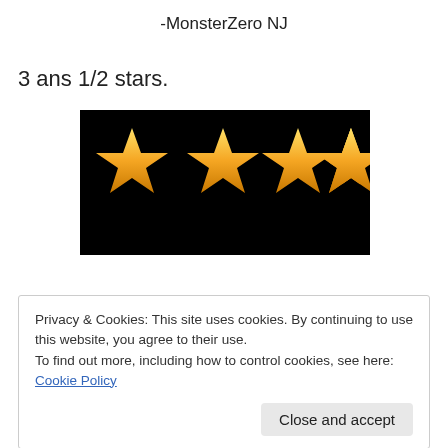-MonsterZero NJ
3 ans 1/2 stars.
[Figure (illustration): Black background image showing 3.5 gold stars representing a rating]
Privacy & Cookies: This site uses cookies. By continuing to use this website, you agree to their use.
To find out more, including how to control cookies, see here: Cookie Policy
Close and accept